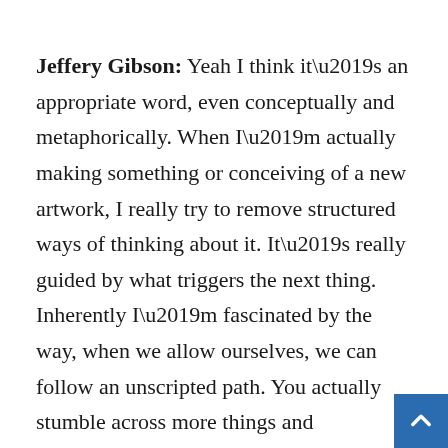Jeffery Gibson: Yeah I think it’s an appropriate word, even conceptually and metaphorically. When I’m actually making something or conceiving of a new artwork, I really try to remove structured ways of thinking about it. It’s really guided by what triggers the next thing. Inherently I’m fascinated by the way, when we allow ourselves, we can follow an unscripted path. You actually stumble across more things and you’re triggered to look in one direction because of something you’re responding to. I’m incredibly process-oriented. So for instance with the garments, sometimes we’ll produce a section of it and it will sit there for months until it triggers